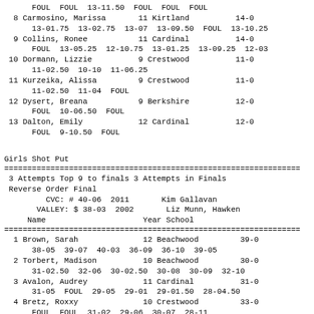FOUL  FOUL  13-11.50  FOUL  FOUL  FOUL
8 Carmosino, Marissa       11 Kirtland          14-0
    13-01.75  13-02.75  13-07  13-09.50  FOUL  13-10.25
9 Collins, Ronee           11 Cardinal          14-0
    FOUL  13-05.25  12-10.75  13-01.25  13-09.25  12-03
10 Dormann, Lizzie         9 Crestwood         11-0
    11-02.50  10-10  11-06.25
11 Kurzeika, Alissa        9 Crestwood         11-0
    11-02.50  11-04  FOUL
12 Dysert, Breana          9 Berkshire         12-0
    FOUL  10-06.50  FOUL
13 Dalton, Emily           12 Cardinal         12-0
    FOUL  9-10.50  FOUL
Girls Shot Put
================================================================
3 Attempts Top 9 to finals 3 Attempts in Finals
Reverse Order Final
        CVC: # 40-06  2011       Kim Gallavan
      VALLEY: $ 38-03  2002       Liz Munn, Hawken
    Name                     Year School
================================================================
1 Brown, Sarah              12 Beachwood        39-0
    38-05  39-07  40-03  36-09  36-10  39-05
2 Torbert, Madison          10 Beachwood        30-0
    31-02.50  32-06  30-02.50  30-08  30-09  32-10
3 Avalon, Audrey            11 Cardinal         31-0
    31-05  FOUL  29-05  29-01  29-01.50  28-04.50
4 Bretz, Roxxy              10 Crestwood        33-0
    FOUL  FOUL  31-02  29-06  30-07  28-11